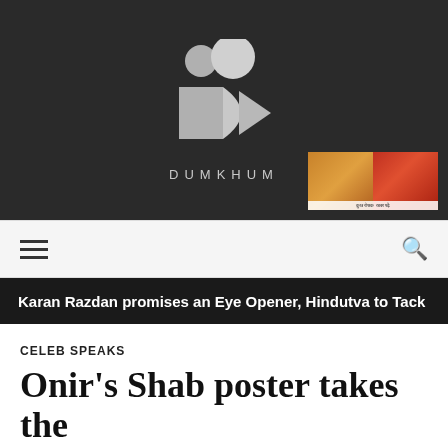[Figure (logo): Dumkhum logo — stylized camera/film icon in light gray on dark background with circles and geometric shapes, text DUMKHUM below]
[Figure (photo): Small thumbnail image strip showing two colorful images side by side, appears to be food or floral photography]
Karan Razdan promises an Eye Opener, Hindutva to Tack
CELEB SPEAKS
Onir's Shab poster takes the